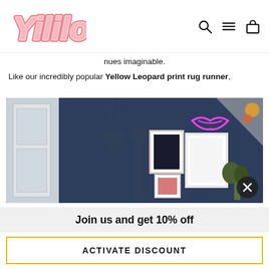[Figure (logo): Yililo brand logo in pink retro lettering with layered stroke effect]
nues imaginable.
Like our incredibly popular Yellow Leopard print rug runner,
[Figure (photo): Interior room scene with dark blue walls, framed art prints, neon pink lips sign, hanging plant, and cat scratching post]
Join us and get 10% off
ACTIVATE DISCOUNT